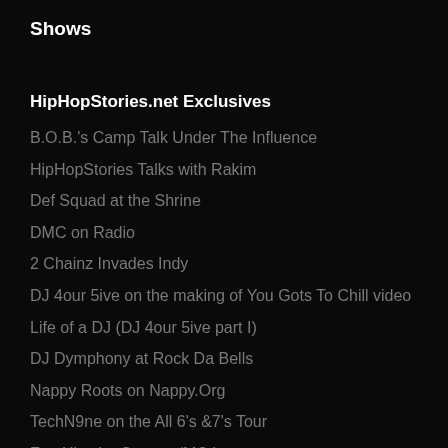Shows
HipHopStories.net Exclusives
B.O.B.'s Camp Talk Under The Influence
HipHopStories Talks with Rakim
Def Squad at the Shrine
DMC on Radio
2 Chainz Invades Indy
DJ 4our 5ive on the making of You Gots To Chill video
Life of a DJ (DJ 4our 5ive part I)
DJ Dymphony at Rock Da Bells
Nappy Roots on Nappy.Org
TechN9ne on the All 6's &7's Tour
Fan Hits the Stage w/MC Lyte
Life of a DJ Part 1